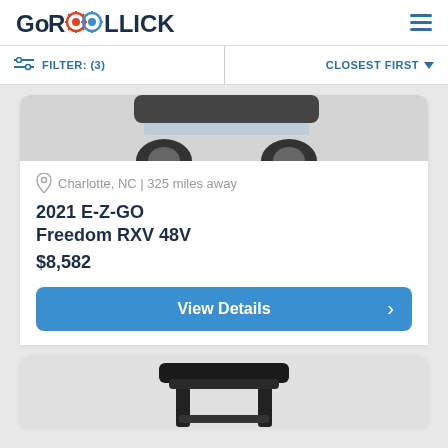GoROLLICK
FILTER: (3) | CLOSEST FIRST
[Figure (photo): Partial top view of a dark golf cart vehicle, showing the roof and top portion of wheels against a light grey background]
Charlotte, NC | 325 miles away
2021 E-Z-GO Freedom RXV 48V
$8,582
View Details
[Figure (photo): Partial bottom view of a second vehicle listing showing handlebars or frame against a grey background]